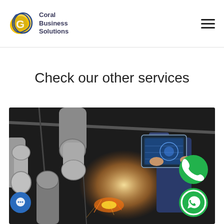Coral Business Solutions
Check our other services
[Figure (photo): Industrial robot arms in a factory with a person holding a tablet showing a digital interface. Sparks fly in the background with a bright light source. Two green circular buttons (phone and WhatsApp) and one blue chat button are overlaid.]